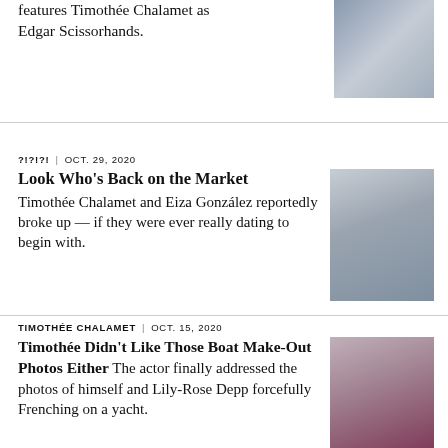features Timothée Chalamet as Edgar Scissorhands.
[Figure (photo): Photo of Timothée Chalamet in a dark jacket]
?!?!?! | OCT. 29, 2020
Look Who's Back on the Market
Timothée Chalamet and Eiza González reportedly broke up — if they were ever really dating to begin with.
[Figure (photo): Photo of Timothée Chalamet in a suit at a red carpet event]
TIMOTHÉE CHALAMET | OCT. 15, 2020
Timothée Didn't Like Those Boat Make-Out Photos Either The actor finally addressed the photos of himself and Lily-Rose Depp forcefully Frenching on a yacht.
[Figure (photo): Close-up photo of Timothée Chalamet with curly hair, wearing a pink/magenta jacket]